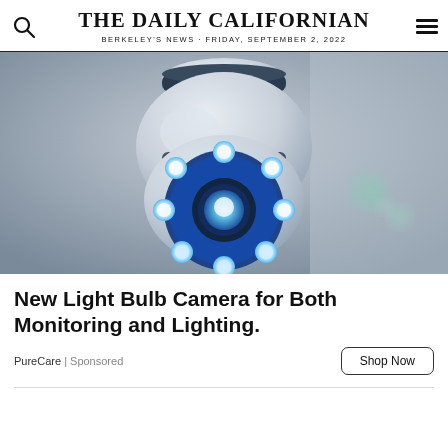THE DAILY CALIFORNIAN
BERKELEY'S NEWS · FRIDAY, SEPTEMBER 2, 2022
[Figure (photo): Close-up photo of a white security camera/light bulb camera with glowing blue LED ring, mounted on ceiling. Blue circular light ring with multiple bright LED bulbs visible. Background is gray/beige wall.]
New Light Bulb Camera for Both Monitoring and Lighting.
PureCare | Sponsored
Shop Now